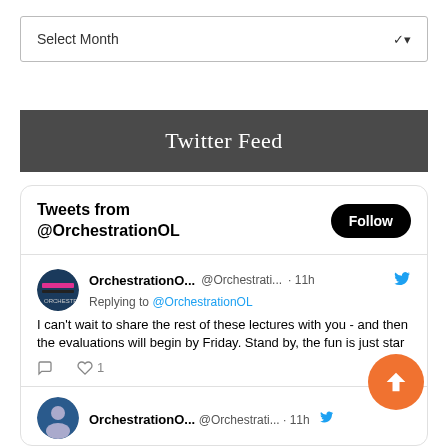[Figure (screenshot): Dropdown widget labeled 'Select Month' with a chevron arrow on the right]
Twitter Feed
[Figure (screenshot): Twitter feed widget showing 'Tweets from @OrchestrationOL' with a Follow button, and a tweet from OrchestrationO... @Orchestrati... · 11h replying to @OrchestrationOL: 'I can’t wait to share the rest of these lectures with you - and then the evaluations will begin by Friday. Stand by, the fun is just star...' with reply and like (1) icons, and a partial second tweet at the bottom.]